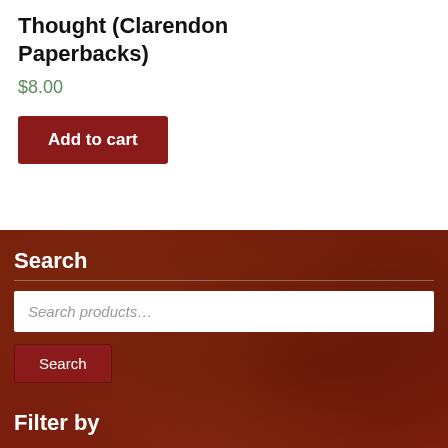Thought (Clarendon Paperbacks)
$8.00
Add to cart
Search
Search products…
Search
Filter by